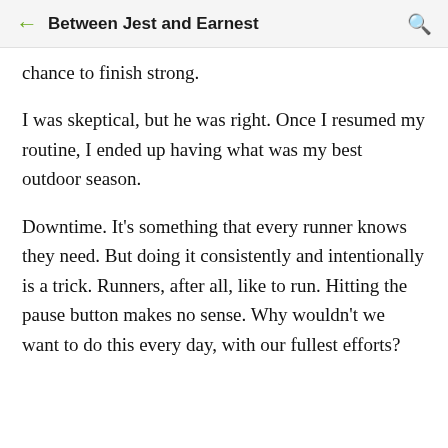Between Jest and Earnest
chance to finish strong.
I was skeptical, but he was right. Once I resumed my routine, I ended up having what was my best outdoor season.
Downtime. It's something that every runner knows they need. But doing it consistently and intentionally is a trick. Runners, after all, like to run. Hitting the pause button makes no sense. Why wouldn't we want to do this every day, with our fullest efforts?